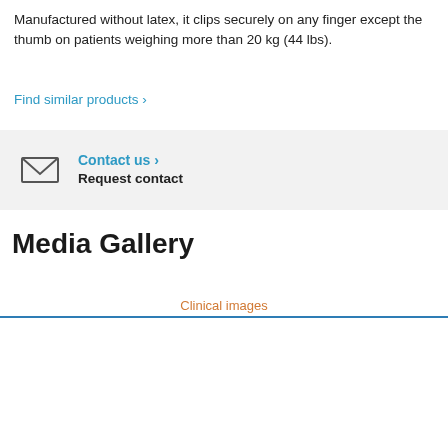Manufactured without latex, it clips securely on any finger except the thumb on patients weighing more than 20 kg (44 lbs).
Find similar products ›
Contact us › Request contact
Media Gallery
Clinical images